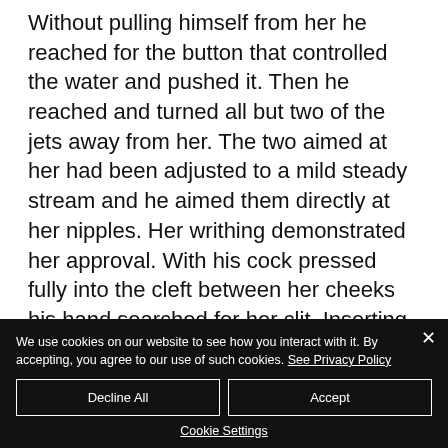Without pulling himself from her he reached for the button that controlled the water and pushed it. Then he reached and turned all but two of the jets away from her. The two aimed at her had been adjusted to a mild steady stream and he aimed them directly at her nipples. Her writhing demonstrated her approval. With his cock pressed fully into the cleft between her cheeks his hand searched for her clit. Inserting two
We use cookies on our website to see how you interact with it. By accepting, you agree to our use of such cookies. See Privacy Policy